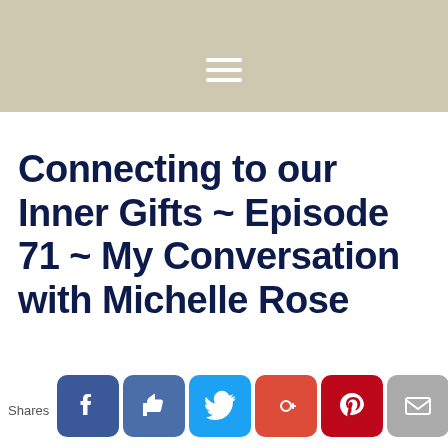[Figure (screenshot): Beige/tan navigation header bar with white hamburger menu icon]
Connecting to our Inner Gifts ~ Episode 71 ~ My Conversation with Michelle Rose
[Figure (infographic): Social sharing bar with Shares label and buttons: Facebook (blue), Like (blue thumbs up), Twitter (blue bird), Google+ (red), Pinterest (red P), Email (gray), Crown/bookmark (dark blue)]